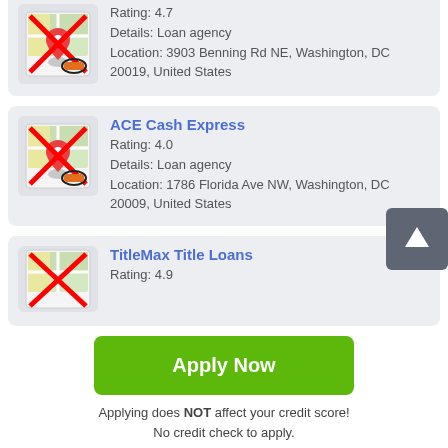Rating: 4.7
Details: Loan agency
Location: 3903 Benning Rd NE, Washington, DC 20019, United States
ACE Cash Express
Rating: 4.0
Details: Loan agency
Location: 1786 Florida Ave NW, Washington, DC 20009, United States
TitleMax Title Loans
Rating: 4.9
Apply Now
Applying does NOT affect your credit score!
No credit check to apply.